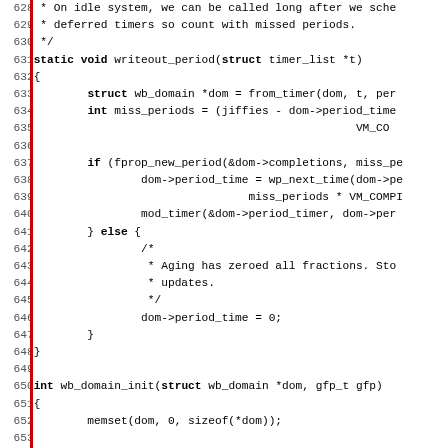[Figure (screenshot): Source code listing in C showing lines 628-659 of a Linux kernel writeback domain timer implementation. Lines include writeout_period function and wb_domain_init function with monospace font on white background, red vertical bar on left margin, gray line numbers.]